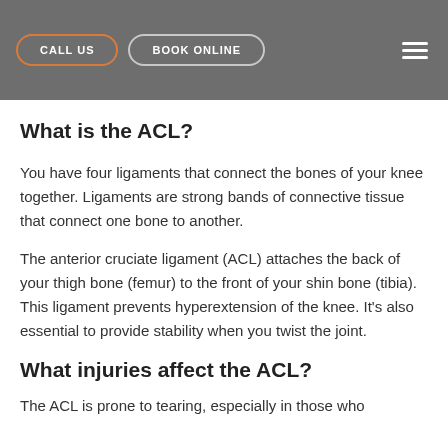CALL US | BOOK ONLINE
What is the ACL?
You have four ligaments that connect the bones of your knee together. Ligaments are strong bands of connective tissue that connect one bone to another.
The anterior cruciate ligament (ACL) attaches the back of your thigh bone (femur) to the front of your shin bone (tibia). This ligament prevents hyperextension of the knee. It's also essential to provide stability when you twist the joint.
What injuries affect the ACL?
The ACL is prone to tearing, especially in those who